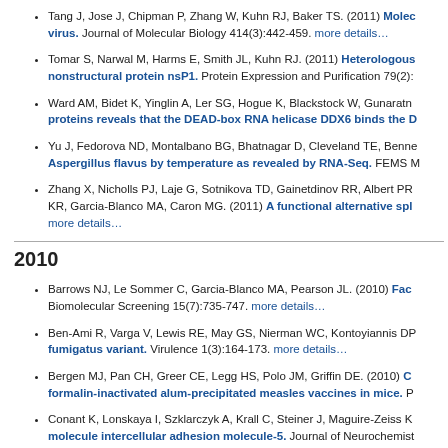Tang J, Jose J, Chipman P, Zhang W, Kuhn RJ, Baker TS. (2011) Molecular structure of the virus. Journal of Molecular Biology 414(3):442-459. more details…
Tomar S, Narwal M, Harms E, Smith JL, Kuhn RJ. (2011) Heterologous nonstructural protein nsP1. Protein Expression and Purification 79(2):...
Ward AM, Bidet K, Yinglin A, Ler SG, Hogue K, Blackstock W, Gunaratn... proteins reveals that the DEAD-box RNA helicase DDX6 binds the D...
Yu J, Fedorova ND, Montalbano BG, Bhatnagar D, Cleveland TE, Benn... Aspergillus flavus by temperature as revealed by RNA-Seq. FEMS M...
Zhang X, Nicholls PJ, Laje G, Sotnikova TD, Gainetdinov RR, Albert PR... KR, Garcia-Blanco MA, Caron MG. (2011) A functional alternative spl... more details…
2010
Barrows NJ, Le Sommer C, Garcia-Blanco MA, Pearson JL. (2010) Fac... Biomolecular Screening 15(7):735-747. more details…
Ben-Ami R, Varga V, Lewis RE, May GS, Nierman WC, Kontoyiannis DP... fumigatus variant. Virulence 1(3):164-173. more details…
Bergen MJ, Pan CH, Greer CE, Legg HS, Polo JM, Griffin DE. (2010) C... formalin-inactivated alum-precipitated measles vaccines in mice. P...
Conant K, Lonskaya I, Szklarczyk A, Krall C, Steiner J, Maguire-Zeiss K... molecule intercellular adhesion molecule-5. Journal of Neurochemist...
Evsyukova I, Somarelli JA, Gregory SG, Garcia-Blanco MA. (2010) Alte...